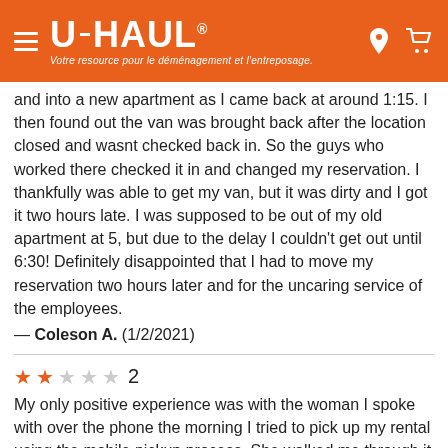U-HAUL — Votre resource pour le déménagement et l'entreposage.
and into a new apartment as I came back at around 1:15. I then found out the van was brought back after the location closed and wasnt checked back in. So the guys who worked there checked it in and changed my reservation. I thankfully was able to get my van, but it was dirty and I got it two hours late. I was supposed to be out of my old apartment at 5, but due to the delay I couldn't get out until 6:30! Definitely disappointed that I had to move my reservation two hours later and for the uncaring service of the employees.
— Coleson A. (1/2/2021)
2 stars — 2
My only positive experience was with the woman I spoke with over the phone the morning I tried to pick up my rental using the mobile pickup process. She walked me through it only to discover the key for the vehicle had not been placed in the lockbox. It was 7 AM and my only option was to return at 10 AM when they were open. When I did, the employee at the storage facility where the vehicle was kept took